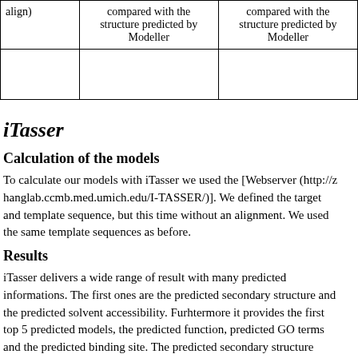| align) | compared with the structure predicted by Modeller | compared with the structure predicted by Modeller |
iTasser
Calculation of the models
To calculate our models with iTasser we used the [Webserver (http://zhanglab.ccmb.med.umich.edu/I-TASSER/)]. We defined the target and template sequence, but this time without an alignment. We used the same template sequences as before.
Results
iTasser delivers a wide range of result with many predicted informations. The first ones are the predicted secondary structure and the predicted solvent accessibility. Furhtermore it provides the first top 5 predicted models, the predicted function, predicted GO terms and the predicted binding site. The predicted secondary structure elements are shown as H for alpha helix (red),S for beta sheet (blue) L,C for coil (yellow). The predicted solvent accessibility shows...